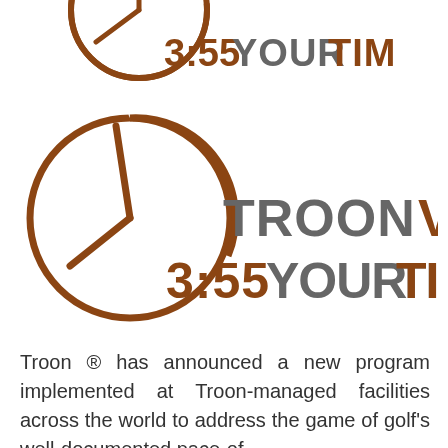[Figure (logo): Partial clock logo at top showing 3:55 time with 'YOUR TIME' text in brown/gray, cropped at top]
[Figure (logo): Full Troon clock logo showing a circle clock at 3:55 with clock hands, text reads 'TROON VALUES YOUR TIME' in gray and brown]
Troon ® has announced a new program implemented at Troon-managed facilities across the world to address the game of golf's well-documented pace-of-